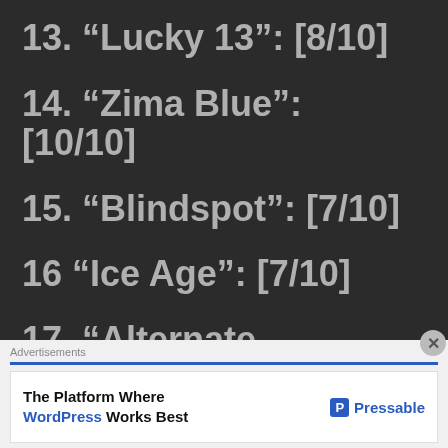13. “Lucky 13”: [8/10]
14. “Zima Blue”: [10/10]
15. “Blindspot”: [7/10]
16 “Ice Age”: [7/10]
17. “Alternate Histories”:
Advertisements
The Platform Where WordPress Works Best  Pressable